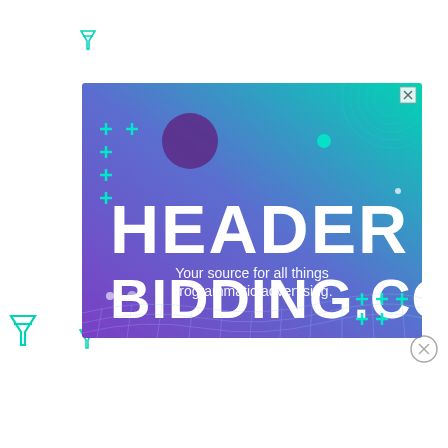[Figure (illustration): Advertisement banner for HeaderBidding.com with purple-to-teal gradient background, decorative plus signs, circles, and a mesh wave pattern. Text reads 'HEADER BIDDING.COM - Your source for all things programmatic advertising.' with decorative teal filter/funnel icons scattered around the banner on white background.]